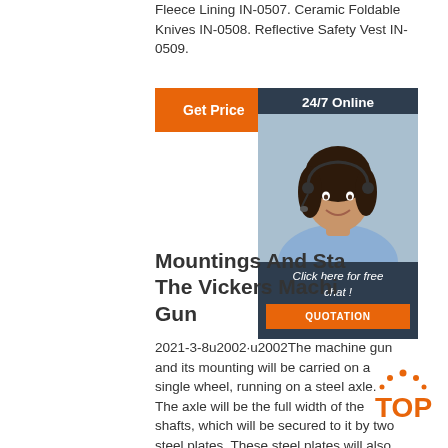Fleece Lining IN-0507. Ceramic Foldable Knives IN-0508. Reflective Safety Vest IN-0509.
[Figure (infographic): Orange 'Get Price' button and a 24/7 Online customer service widget showing a female agent with headset, 'Click here for free chat!' text, and an orange QUOTATION button on dark blue background]
Mountings And Sta... The Vickers Machi... Gun
2021-3-8u2002·u2002The machine gun and its mounting will be carried on a single wheel, running on a steel axle. The axle will be the full width of the shafts, which will be secured to it by two steel plates. These steel plates will also carry the gun mounting. The
[Figure (logo): Orange 'TOP' badge/logo with dotted arc above]